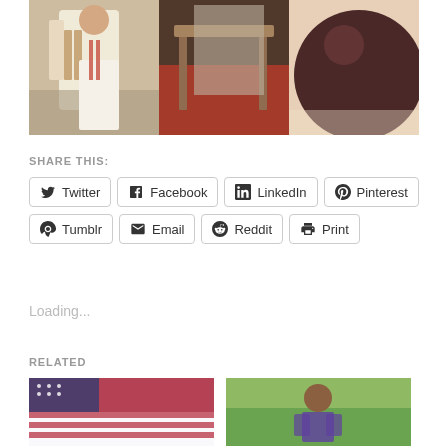[Figure (photo): A collage of three photos side by side: left shows a person in a white outfit, center shows a table scene with red floor, right shows a close-up of a dark round object.]
SHARE THIS:
Twitter
Facebook
LinkedIn
Pinterest
Tumblr
Email
Reddit
Print
Loading...
RELATED
[Figure (photo): Related image showing an American flag themed item.]
[Figure (photo): Related image showing a woman outdoors with green trees in background.]